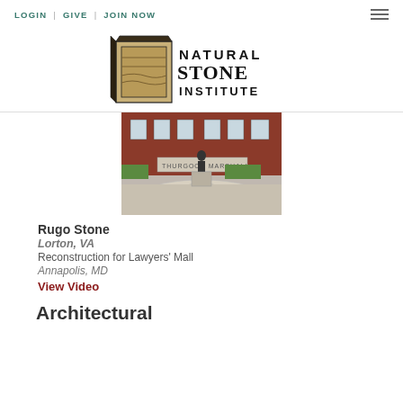LOGIN | GIVE | JOIN NOW
[Figure (logo): Natural Stone Institute logo with stone graphic and text]
[Figure (photo): Photo of a statue of Thurgood Marshall at Lawyers' Mall in Annapolis, MD, with brick building and circular stone plaza]
Rugo Stone
Lorton, VA
Reconstruction for Lawyers' Mall
Annapolis, MD
View Video
Architectural